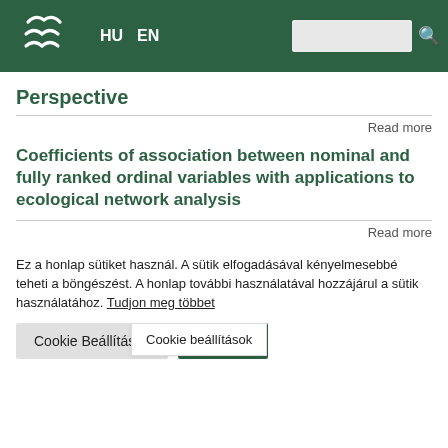HU EN [search bar]
Perspective
Read more
Coefficients of association between nominal and fully ranked ordinal variables with applications to ecological network analysis
Read more
Ez a honlap sütiket használ. A sütik elfogadásával kényelmesebbé teheti a böngészést. A honlap további használatával hozzájárul a sütik használatához. Tudjon meg többet
Cookie Beállítások | Összefoglalás | Cookie beállítások